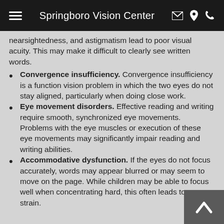Springboro Vision Center
nearsightedness, and astigmatism lead to poor visual acuity. This may make it difficult to clearly see written words.
Convergence insufficiency. Convergence insufficiency is a function vision problem in which the two eyes do not stay aligned, particularly when doing close work.
Eye movement disorders. Effective reading and writing require smooth, synchronized eye movements. Problems with the eye muscles or execution of these eye movements may significantly impair reading and writing abilities.
Accommodative dysfunction. If the eyes do not focus accurately, words may appear blurred or may seem to move on the page. While children may be able to focus well when concentrating hard, this often leads to eye strain.